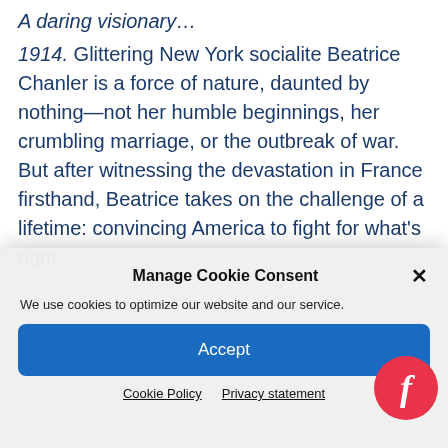A daring visionary…
1914. Glittering New York socialite Beatrice Chanler is a force of nature, daunted by nothing—not her humble beginnings, her crumbling marriage, or the outbreak of war. But after witnessing the devastation in France firsthand, Beatrice takes on the challenge of a lifetime: convincing America to fight for what's right.
Manage Cookie Consent
We use cookies to optimize our website and our service.
Accept
Cookie Policy   Privacy statement